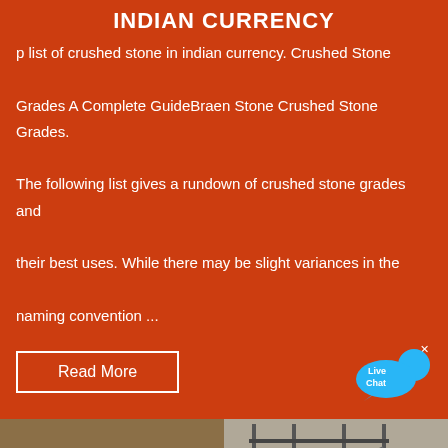INDIAN CURRENCY
p list of crushed stone in indian currency. Crushed Stone Grades A Complete GuideBraen Stone Crushed Stone Grades. The following list gives a rundown of crushed stone grades and their best uses. While there may be slight variances in the naming convention ...
Read More
[Figure (photo): Mining trucks on dirt road aerial view]
[Figure (photo): Industrial stone crushing plant with conveyor belts and metal structure]
[Figure (photo): Quarry with mining equipment and vehicles in open field]
[Figure (photo): Conveyor belt machinery at mining site with dust]